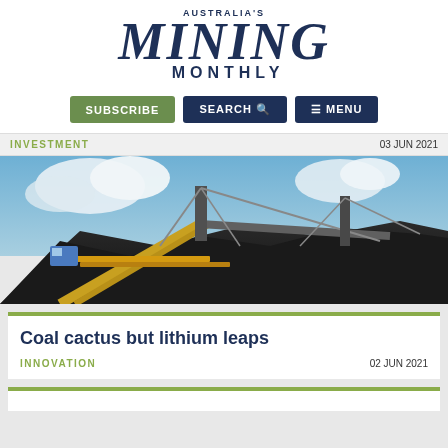Australia's Mining Monthly
INVESTMENT | 03 JUN 2021
[Figure (photo): Mining equipment — large conveyor belts and reclaimer machinery over coal stockpiles at a port or mine facility, blue sky with clouds in background.]
Coal cactus but lithium leaps
INNOVATION   02 JUN 2021